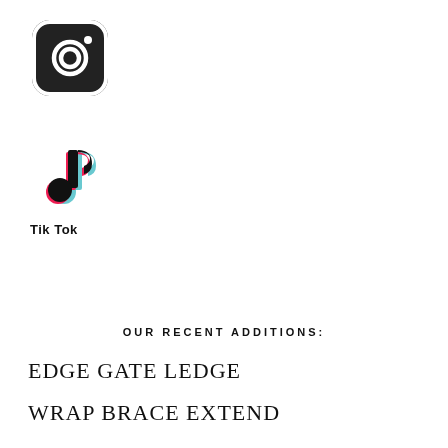[Figure (logo): Instagram logo icon — rounded square with camera outline in dark gray/black]
[Figure (logo): TikTok logo icon with cyan and red offset effect]
Tik Tok
OUR RECENT ADDITIONS:
EDGE GATE LEDGE
WRAP BRACE EXTEND